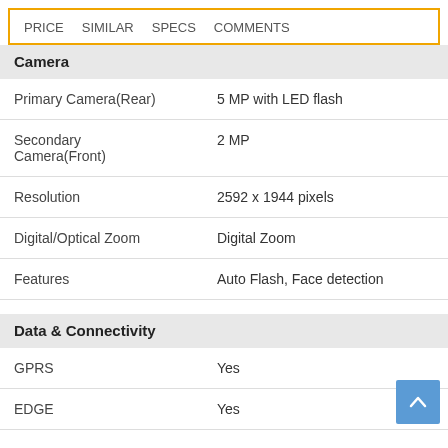PRICE  SIMILAR  SPECS  COMMENTS
Camera
| Spec | Value |
| --- | --- |
| Primary Camera(Rear) | 5 MP with LED flash |
| Secondary Camera(Front) | 2 MP |
| Resolution | 2592 x 1944 pixels |
| Digital/Optical Zoom | Digital Zoom |
| Features | Auto Flash, Face detection |
Data & Connectivity
| Spec | Value |
| --- | --- |
| GPRS | Yes |
| EDGE | Yes |